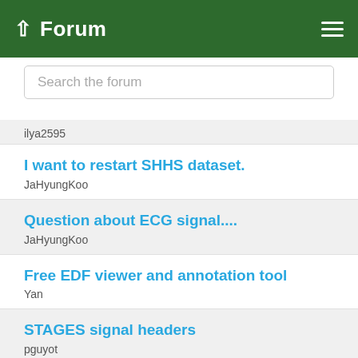Forum
Search the forum
ilya2595
I want to restart SHHS dataset.
JaHyungKoo
Question about ECG signal....
JaHyungKoo
Free EDF viewer and annotation tool
Yan
STAGES signal headers
pguyot
How do identify EEG Channels?
ChandraBhushan